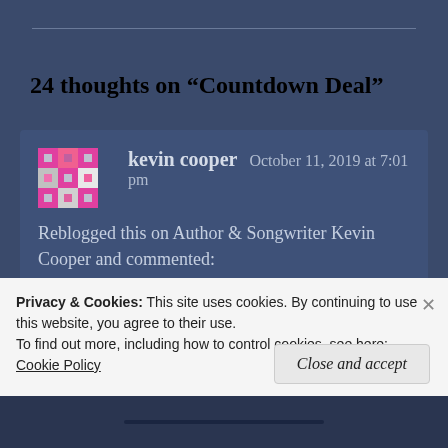24 thoughts on “Countdown Deal”
kevin cooper  October 11, 2019 at 7:01 pm
Reblogged this on Author & Songwriter Kevin Cooper and commented:
The deal is now on, folks... Get your bargain book
Privacy & Cookies: This site uses cookies. By continuing to use this website, you agree to their use.
To find out more, including how to control cookies, see here: Cookie Policy
Close and accept